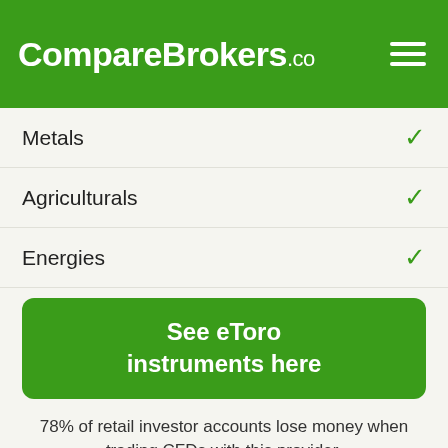CompareBrokers.co
Metals ✓
Agriculturals ✓
Energies ✓
See eToro instruments here
78% of retail investor accounts lose money when trading CFDs with this provider.
eToro Account Types
Demo account ✓
VIP account ✓
Micro account ✗
Standard account ✓
ECN account ✗